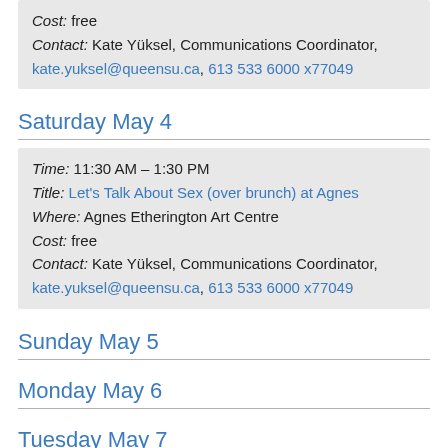Cost: free
Contact: Kate Yüksel, Communications Coordinator, kate.yuksel@queensu.ca, 613 533 6000 x77049
Saturday May 4
Time: 11:30 AM – 1:30 PM
Title: Let's Talk About Sex (over brunch) at Agnes
Where: Agnes Etherington Art Centre
Cost: free
Contact: Kate Yüksel, Communications Coordinator, kate.yuksel@queensu.ca, 613 533 6000 x77049
Sunday May 5
Monday May 6
Tuesday May 7
Time: 11:30 AM – 2:00 PM
Title: Kingston Branch Cha Gheill Luncheon - The Oasis Model